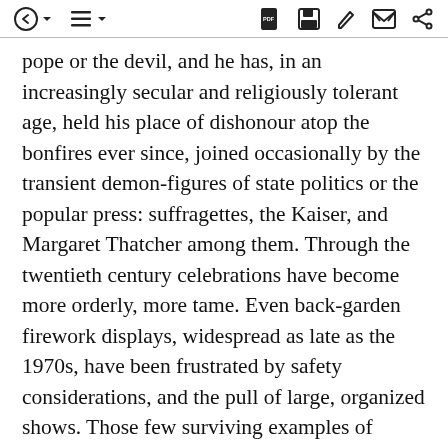[toolbar icons: back, list, PDF, save, edit, mail, share]
pope or the devil, and he has, in an increasingly secular and religiously tolerant age, held his place of dishonour atop the bonfires ever since, joined occasionally by the transient demon-figures of state politics or the popular press: suffragettes, the Kaiser, and Margaret Thatcher among them. Through the twentieth century celebrations have become more orderly, more tame. Even back-garden firework displays, widespread as late as the 1970s, have been frustrated by safety considerations, and the pull of large, organized shows. Those few surviving examples of vehement anti-Catholic ritual on bonfire night—at Lewes in Sussex, for example—are noteworthy in their rarity. Gunpowder Plot day has become Guy Fawkes'